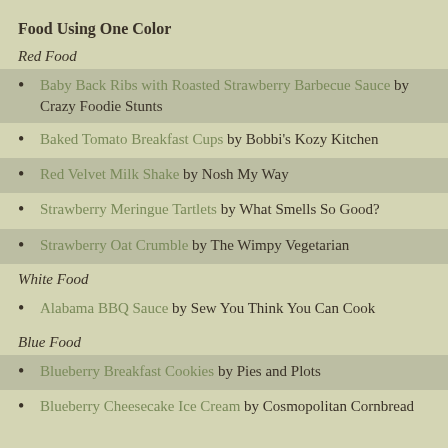Food Using One Color
Red Food
Baby Back Ribs with Roasted Strawberry Barbecue Sauce by Crazy Foodie Stunts
Baked Tomato Breakfast Cups by Bobbi's Kozy Kitchen
Red Velvet Milk Shake by Nosh My Way
Strawberry Meringue Tartlets by What Smells So Good?
Strawberry Oat Crumble by The Wimpy Vegetarian
White Food
Alabama BBQ Sauce by Sew You Think You Can Cook
Blue Food
Blueberry Breakfast Cookies by Pies and Plots
Blueberry Cheesecake Ice Cream by Cosmopolitan Cornbread